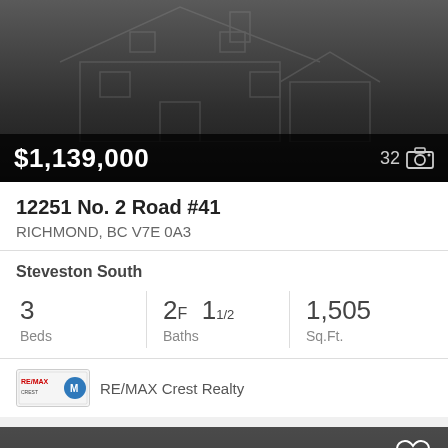[Figure (photo): Dark background with faint house outline illustration, price bar showing $1,139,000 and photo count 32]
12251 No. 2 Road #41
RICHMOND, BC V7E 0A3
Steveston South
3 Beds | 2F 11/2 Baths | 1,505 Sq.Ft.
RE/MAX Crest Realty
[Figure (photo): Dark background with faint house outline illustration, heart/favorite icon in top right, accessibility icon (wheelchair) in bottom left, partial text 'Loading Photo...' at bottom]